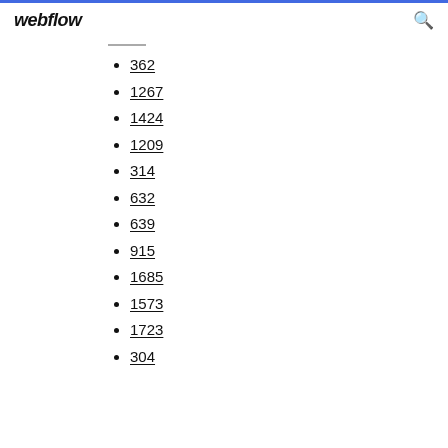webflow
362
1267
1424
1209
314
632
639
915
1685
1573
1723
304